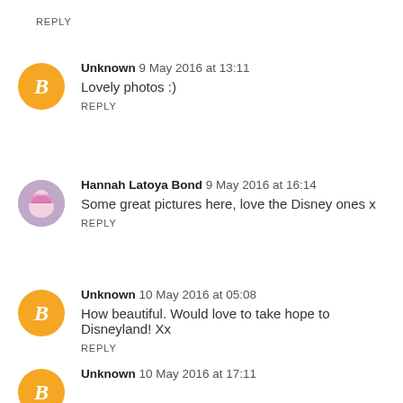REPLY
Unknown 9 May 2016 at 13:11
Lovely photos :)
REPLY
Hannah Latoya Bond 9 May 2016 at 16:14
Some great pictures here, love the Disney ones x
REPLY
Unknown 10 May 2016 at 05:08
How beautiful. Would love to take hope to Disneyland! Xx
REPLY
Unknown 10 May 2016 at 17:11